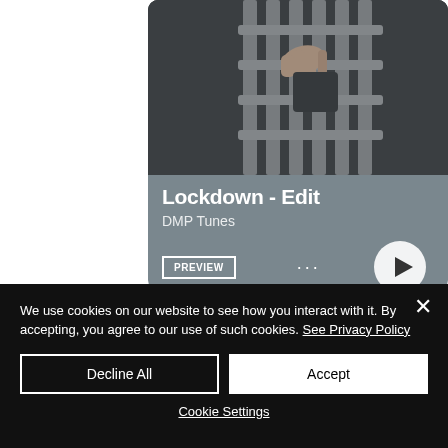[Figure (screenshot): Music streaming card showing 'Lockdown - Edit' by DMP Tunes with a photo of a hand on a metal gate/bars, a PREVIEW button, three dots menu, and a play button]
We use cookies on our website to see how you interact with it. By accepting, you agree to our use of such cookies. See Privacy Policy
Decline All
Accept
Cookie Settings